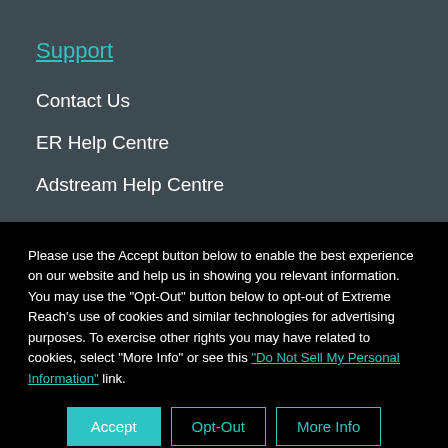Support
Contact Us
ER Help Centre
Adstream Help Centre
Please use the Accept button below to enable the best experience on our website and help us in showing you relevant information. You may use the "Opt-Out" button below to opt-out of Extreme Reach's use of cookies and similar technologies for advertising purposes. To exercise other rights you may have related to cookies, select "More Info" or see this "Do Not Sell My Personal Information" link.